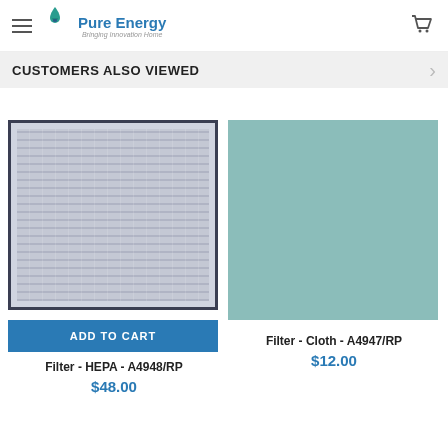Pure Energy — Bringing Innovation Home
CUSTOMERS ALSO VIEWED
[Figure (photo): HEPA filter with dark frame and white/grey pleated filter media]
ADD TO CART
Filter - HEPA - A4948/RP
$48.00
[Figure (photo): Cloth filter — solid teal/sage green colored flat filter pad]
Filter - Cloth - A4947/RP
$12.00